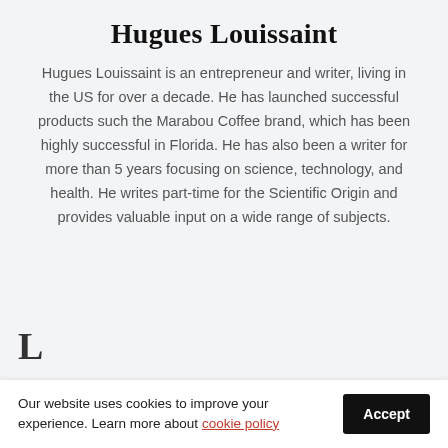Hugues Louissaint
Hugues Louissaint is an entrepreneur and writer, living in the US for over a decade. He has launched successful products such the Marabou Coffee brand, which has been highly successful in Florida. He has also been a writer for more than 5 years focusing on science, technology, and health. He writes part-time for the Scientific Origin and provides valuable input on a wide range of subjects.
Our website uses cookies to improve your experience. Learn more about cookie policy